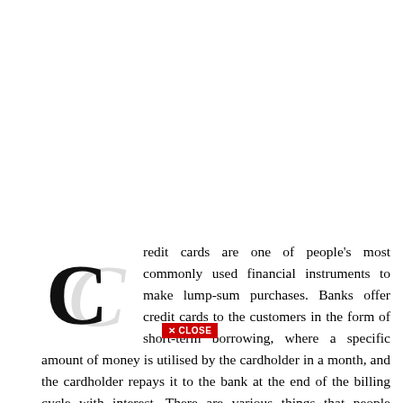Credit cards are one of people's most commonly used financial instruments to make lump-sum purchases. Banks offer credit cards to the customers in the form of short-term borrowing, where a specific amount of money is utilised by the cardholder in a month, and the cardholder repays it to the bank at the end of the billing cycle with interest. There are various things that people should be aware of before they apply for a credit card. Banks and financial institutions offer different types of